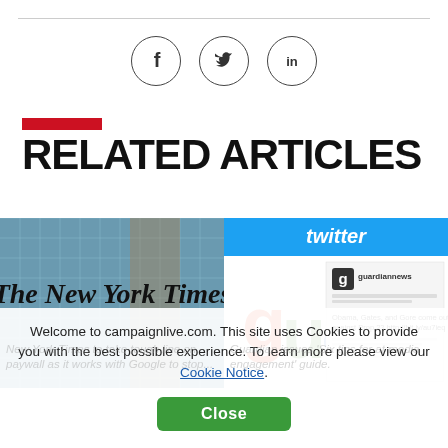[Figure (illustration): Three social media icon circles: Facebook (f), Twitter (bird), LinkedIn (in)]
RELATED ARTICLES
[Figure (photo): New York Times building exterior with NYT logo in gothic lettering]
[Figure (screenshot): Twitter/Guardian screenshot showing guardiannews account with tweet about Obama, Gates, and Gore]
New York Times to take tough line on paywall as it works with Google to stop...
Guardian issues 'Six tips for at media engagement' guide.
Welcome to campaignlive.com. This site uses Cookies to provide you with the best possible experience. To learn more please view our Cookie Notice.
Close